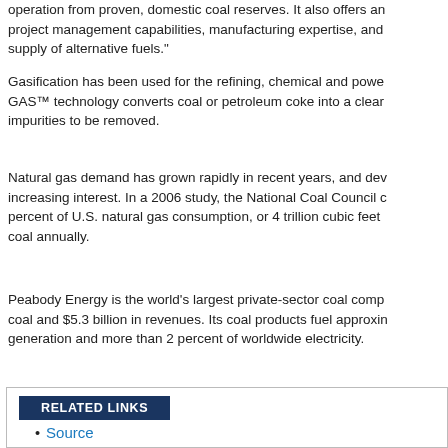operation from proven, domestic coal reserves. It also offers an project management capabilities, manufacturing expertise, and supply of alternative fuels."
Gasification has been used for the refining, chemical and power GAS™ technology converts coal or petroleum coke into a clean impurities to be removed.
Natural gas demand has grown rapidly in recent years, and dev increasing interest. In a 2006 study, the National Coal Council d percent of U.S. natural gas consumption, or 4 trillion cubic feet coal annually.
Peabody Energy is the world's largest private-sector coal comp coal and $5.3 billion in revenues. Its coal products fuel approxim generation and more than 2 percent of worldwide electricity.
RELATED LINKS
Source